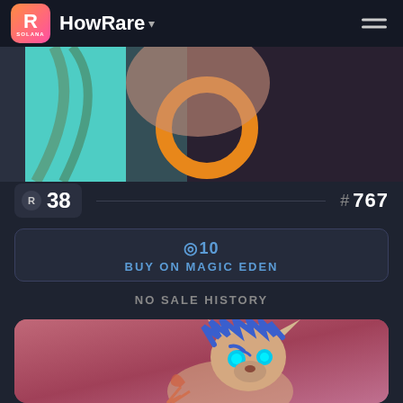HowRare
[Figure (illustration): Partial cropped NFT illustration showing a character with teal background and orange circular element]
R 38
# 767
◎10
BUY ON MAGIC EDEN
NO SALE HISTORY
[Figure (illustration): NFT illustration of a wolf/fox character with blue spiky hair and blue glowing eyes on a pink-red gradient background]